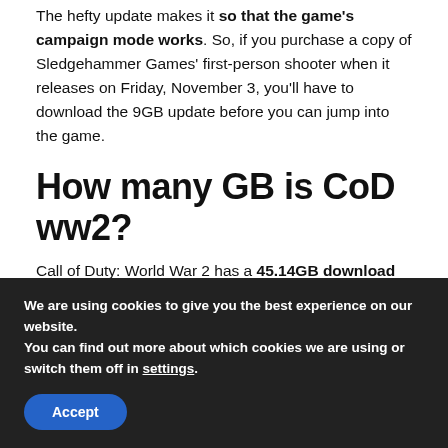The hefty update makes it so that the game's campaign mode works. So, if you purchase a copy of Sledgehammer Games' first-person shooter when it releases on Friday, November 3, you'll have to download the 9GB update before you can jump into the game.
How many GB is CoD ww2?
Call of Duty: World War 2 has a 45.14GB download size on the Xbox One, 56GB on the PS4, and a whopping 90GB on PC.
We are using cookies to give you the best experience on our website.
You can find out more about which cookies we are using or switch them off in settings.
Accept